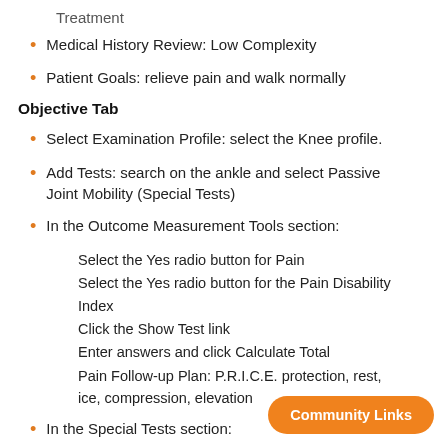Treatment
Medical History Review: Low Complexity
Patient Goals: relieve pain and walk normally
Objective Tab
Select Examination Profile: select the Knee profile.
Add Tests: search on the ankle and select Passive Joint Mobility (Special Tests)
In the Outcome Measurement Tools section:
Select the Yes radio button for Pain
Select the Yes radio button for the Pain Disability Index
Click the Show Test link
Enter answers and click Calculate Total
Pain Follow-up Plan: P.R.I.C.E. protection, rest, ice, compression, elevation
In the Special Tests section: